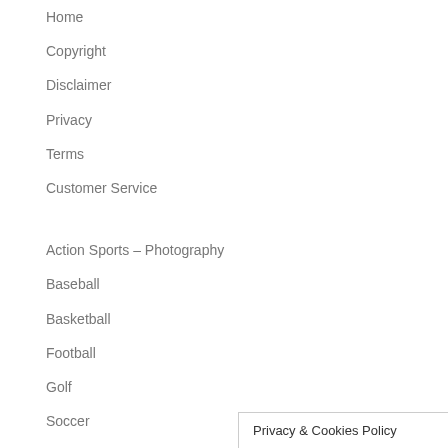Home
Copyright
Disclaimer
Privacy
Terms
Customer Service
Action Sports – Photography
Baseball
Basketball
Football
Golf
Soccer
Action Sports Equipm…
Privacy & Cookies Policy